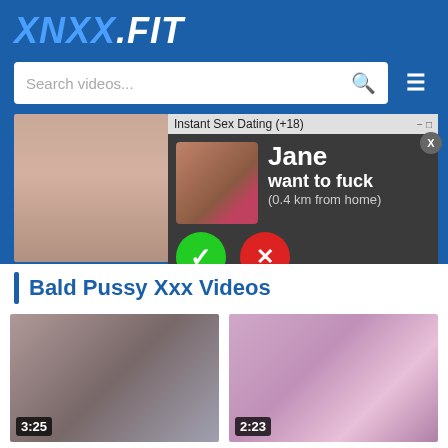XNXX.FIT
[Figure (screenshot): Search bar with placeholder text 'Search videos...' and a hamburger menu icon]
[Figure (screenshot): Ad popup overlay: 'Instant Sex Dating (+18)' window showing a person photo, name 'Jane', text 'want to fuck (0.4 km from home)', with green checkmark and red X buttons]
Bald Pussy Xxx Videos
[Figure (screenshot): Video thumbnail for 'indian xxx phone sex live...' with duration 3:25]
indian xxx phone sex live...
bald pussy blowjob cock su
[Figure (screenshot): Video thumbnail for 'muslim nurse enjoys sex ...' with duration 2:23]
muslim nurse enjoys sex ...
bald pussy doctor enjoying